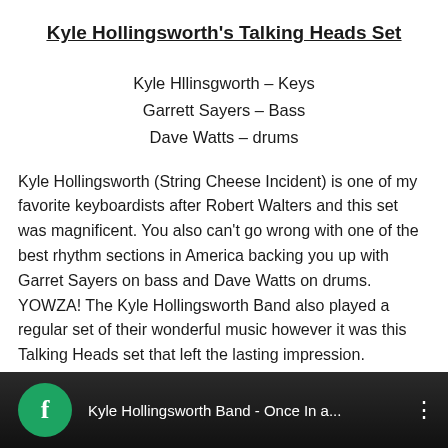Kyle Hollingsworth's Talking Heads Set
Kyle Hllinsgworth – Keys
Garrett Sayers – Bass
Dave Watts – drums
Kyle Hollingsworth (String Cheese Incident) is one of my favorite keyboardists after Robert Walters and this set was magnificent.  You also can't go wrong with one of the best rhythm sections in America backing you up with Garret Sayers on bass and Dave Watts on drums. YOWZA! The Kyle Hollingsworth Band also played a regular set of their wonderful music however it was this Talking Heads set that left the lasting impression.
[Figure (screenshot): Video thumbnail/player screenshot showing a Facebook video titled 'Kyle Hollingsworth Band - Once In a...' with a teal Facebook icon on a dark background with colorful bokeh lights]